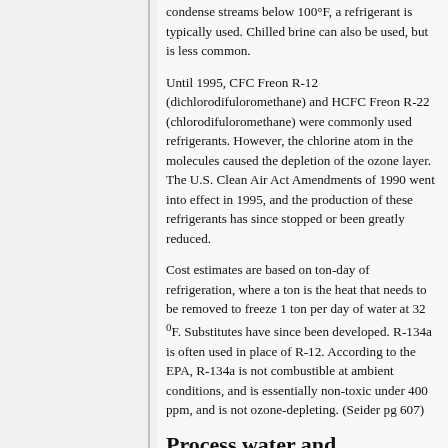condense streams below 100°F, a refrigerant is typically used. Chilled brine can also be used, but is less common.
Until 1995, CFC Freon R-12 (dichlorodifuloromethane) and HCFC Freon R-22 (chlorodifuloromethane) were commonly used refrigerants. However, the chlorine atom in the molecules caused the depletion of the ozone layer. The U.S. Clean Air Act Amendments of 1990 went into effect in 1995, and the production of these refrigerants has since stopped or been greatly reduced.
Cost estimates are based on ton-day of refrigeration, where a ton is the heat that needs to be removed to freeze 1 ton per day of water at 32 °F. Substitutes have since been developed. R-134a is often used in place of R-12. According to the EPA, R-134a is not combustible at ambient conditions, and is essentially non-toxic under 400 ppm, and is not ozone-depleting. (Seider pg 607)
Process water and